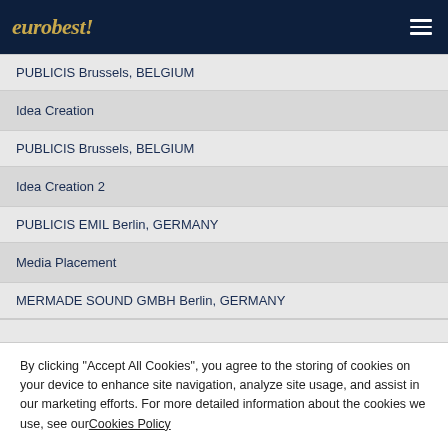eurobest
PUBLICIS Brussels, BELGIUM
Idea Creation
PUBLICIS Brussels, BELGIUM
Idea Creation 2
PUBLICIS EMIL Berlin, GERMANY
Media Placement
MERMADE SOUND GMBH Berlin, GERMANY
By clicking “Accept All Cookies”, you agree to the storing of cookies on your device to enhance site navigation, analyze site usage, and assist in our marketing efforts. For more detailed information about the cookies we use, see our Cookies Policy